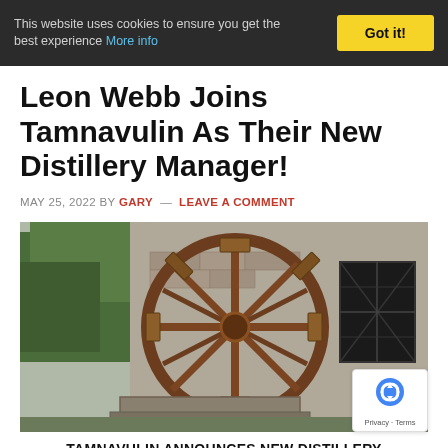This website uses cookies to ensure you get the best experience More info | Got it!
Leon Webb Joins Tamnavulin As Their New Distillery Manager!
MAY 25, 2022 BY GARY — LEAVE A COMMENT
[Figure (photo): A large old wooden water wheel mounted against a stone building, with green trees visible in the background. The wheel appears rustic and weathered.]
TAMNAVULIN ANNOUNCES NEW DISTILLERY MANAGER!